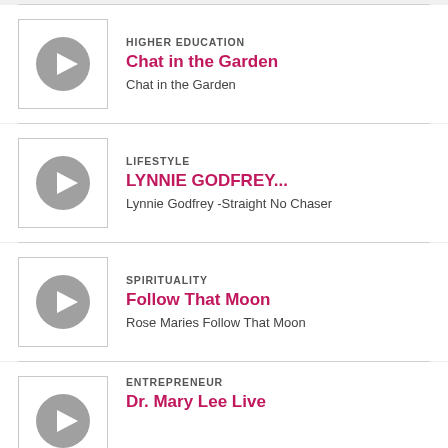HIGHER EDUCATION | Chat in the Garden | Chat in the Garden
LIFESTYLE | LYNNIE GODFREY... | Lynnie Godfrey -Straight No Chaser
SPIRITUALITY | Follow That Moon | Rose Maries Follow That Moon
ENTREPRENEUR | Dr. Mary Lee Live